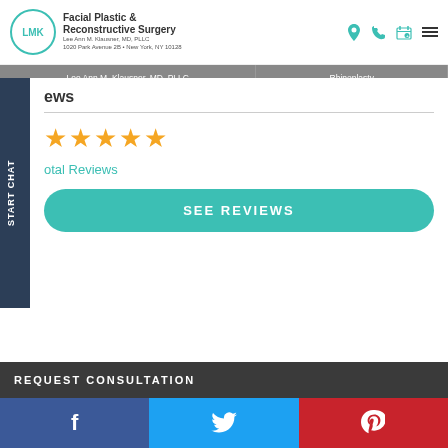LMK Facial Plastic & Reconstructive Surgery — Lee Ann M. Klausner, MD, PLLC — 1020 Park Avenue 2B, New York, NY 10128
Lee Ann M. Klausner, MD, PLLC | Rhinoplasty
ews
[Figure (other): Five gold/orange star rating icons in a row]
otal Reviews
SEE REVIEWS
REQUEST CONSULTATION
[Figure (other): Social media bar with Facebook, Twitter, and Pinterest icons]